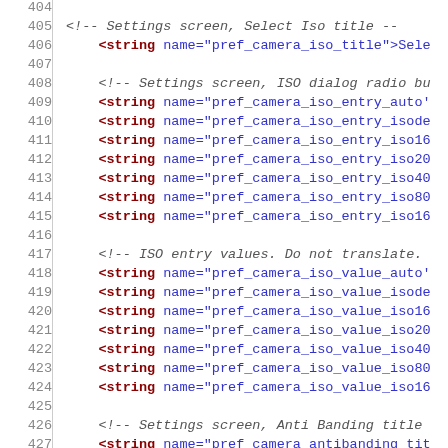Source code listing: XML string resource file, lines 404-433, showing camera ISO and anti-banding settings entries.